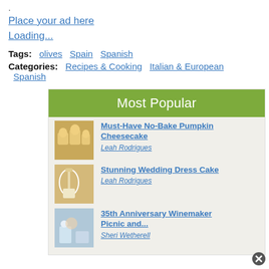.
Place your ad here
Loading...
Tags: olives Spain Spanish
Categories: Recipes & Cooking Italian & European Spanish
Most Popular
[Figure (photo): Thumbnail of pumpkin cheesecake cupcakes]
Must-Have No-Bake Pumpkin Cheesecake
Leah Rodrigues
[Figure (photo): Thumbnail of wedding dress cake]
Stunning Wedding Dress Cake
Leah Rodrigues
[Figure (photo): Thumbnail of anniversary winemaker picnic]
35th Anniversary Winemaker Picnic and...
Sheri Wetherell